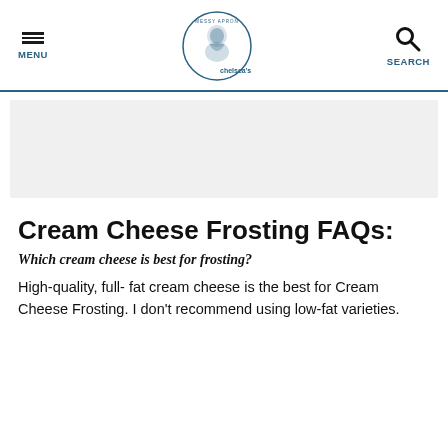MENU | chelsea's MESSY APRON® | SEARCH
[Figure (other): Light gray advertisement placeholder rectangle]
Cream Cheese Frosting FAQs:
Which cream cheese is best for frosting?
High-quality, full- fat cream cheese is the best for Cream Cheese Frosting. I don't recommend using low-fat varieties.